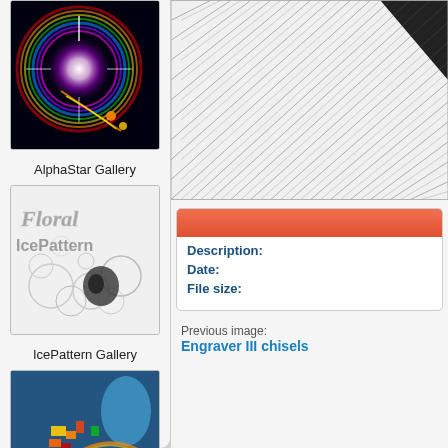[Figure (photo): Thumbnail of AlphaStar Gallery - colorful star burst with rainbow rings on black background]
AlphaStar Gallery
[Figure (photo): Thumbnail of IcePattern Gallery - floral ice pattern with 'Floral IcePattern' text]
IcePattern Gallery
[Figure (photo): Thumbnail of Water Gallery - colorful abstract water swirl]
Water Gallery
All Galleries
[Figure (photo): Preview image with hatching/engraving pattern - diagonal lines on white/grey background with dark corner]
Description:
Date:
File size:
Previous image:
Engraver III chisels